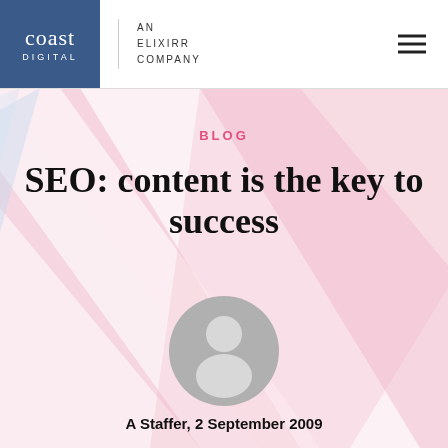coast digital | AN ELIXIRR COMPANY
BLOG
SEO: content is the key to success
[Figure (illustration): Generic user avatar placeholder — grey circle with white silhouette of head and shoulders]
A Staffer, 2 September 2009